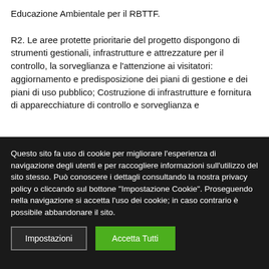Educazione Ambientale per il RBTTF.
R2. Le aree protette prioritarie del progetto dispongono di strumenti gestionali, infrastrutture e attrezzature per il controllo, la sorveglianza e l'attenzione ai visitatori: aggiornamento e predisposizione dei piani di gestione e dei piani di uso pubblico; Costruzione di infrastrutture e fornitura di apparecchiature di controllo e sorveglianza e
Questo sito fa uso di cookie per migliorare l'esperienza di navigazione degli utenti e per raccogliere informazioni sull'utilizzo del sito stesso. Può conoscere i dettagli consultando la nostra privacy policy o cliccando sul bottone "Impostazione Cookie". Proseguendo nella navigazione si accetta l'uso dei cookie; in caso contrario è possibile abbandonare il sito.